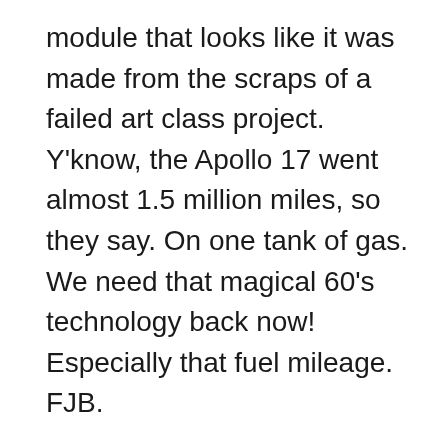module that looks like it was made from the scraps of a failed art class project. Y'know, the Apollo 17 went almost 1.5 million miles, so they say. On one tank of gas. We need that magical 60's technology back now! Especially that fuel mileage. FJB.